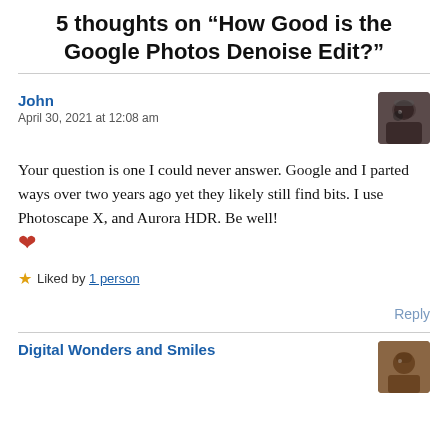5 thoughts on “How Good is the Google Photos Denoise Edit?”
John
April 30, 2021 at 12:08 am
Your question is one I could never answer. Google and I parted ways over two years ago yet they likely still find bits. I use Photoscape X, and Aurora HDR. Be well! ❤
★ Liked by 1 person
Reply
Digital Wonders and Smiles